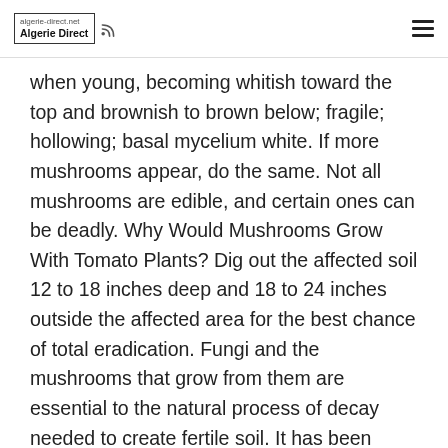Algerie Direct
when young, becoming whitish toward the top and brownish to brown below; fragile; hollowing; basal mycelium white. If more mushrooms appear, do the same. Not all mushrooms are edible, and certain ones can be deadly. Why Would Mushrooms Grow With Tomato Plants? Dig out the affected soil 12 to 18 inches deep and 18 to 24 inches outside the affected area for the best chance of total eradication. Fungi and the mushrooms that grow from them are essential to the natural process of decay needed to create fertile soil. It has been given many nicknames in the past including “Subbs, Red caps, Subtle tea tits (shroomery members), and "Weed Panaeolus". October 31, 2020. These mushrooms are usually harmless to grasses; however, some people consider them unsightly or want to get rid of them because